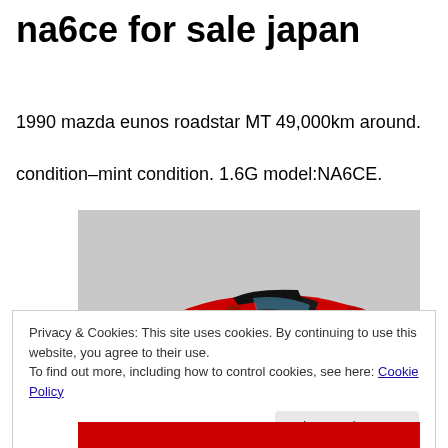na6ce for sale japan
1990 mazda eunos roadstar MT 49,000km around.
condition–mint condition. 1.6G model:NA6CE.
[Figure (photo): Red Mazda MX-5 Miata (Eunos Roadstar) NA6CE convertible, front three-quarter view, parked in front of a grey wall]
Privacy & Cookies: This site uses cookies. By continuing to use this website, you agree to their use.
To find out more, including how to control cookies, see here: Cookie Policy
Close and accept